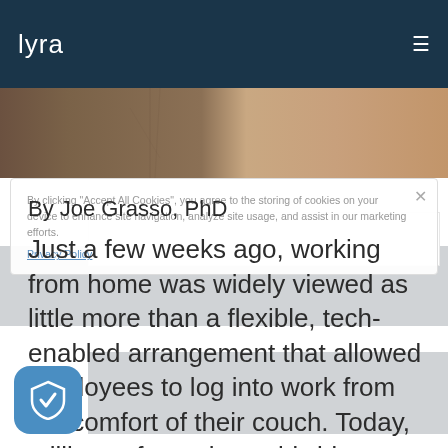lyra
[Figure (photo): Hero image showing a wicker/wooden surface and a warm beige/skin-tone background]
By clicking "Accept All Cookies", you agree to the storing of cookies on your device to enhance site navigation, analyze site usage, and assist in our marketing efforts. Privacy Policy
By Joe Grasso, PhD
Just a few weeks ago, working from home was widely viewed as little more than a flexible, tech-enabled arrangement that allowed employees to log into work from the comfort of their couch. Today, millions of people worldwide are